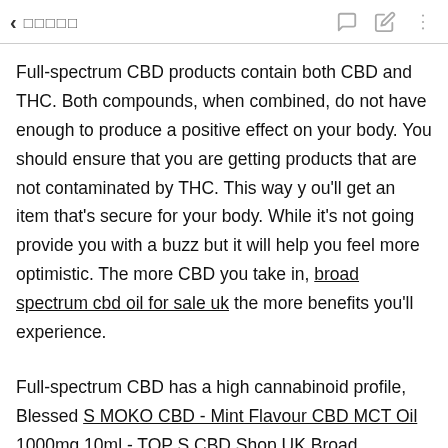< ????? [icons: chat, edit, more]
Full-spectrum CBD products contain both CBD and THC. Both compounds, when combined, do not have enough to produce a positive effect on your body. You should ensure that you are getting products that are not contaminated by THC. This way you'll get an item that's secure for your body. While it's not going provide you with a buzz but it will help you feel more optimistic. The more CBD you take in, broad spectrum cbd oil for sale uk the more benefits you'll experience.
Full-spectrum CBD has a high cannabinoid profile, Blessed SMOKO CBD - Mint Flavour CBD MCT Oil 1000mg 10ml - TOPS CBD Shop UK Broad Spectrum 500mg CBD Oil Drops - TOPS CBD Shop UK but no THC. It's ideal for people who aren't looking to experience a high or tolerate THC. Full spectrum CB